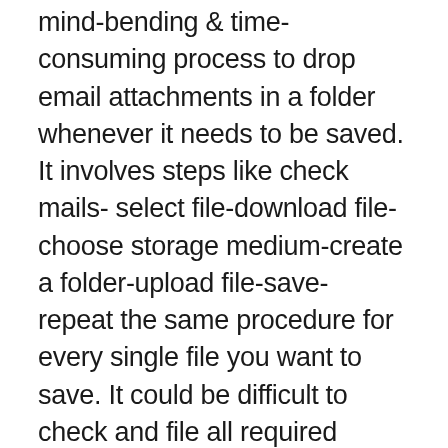mind-bending & time-consuming process to drop email attachments in a folder whenever it needs to be saved. It involves steps like check mails- select file-download file-choose storage medium-create a folder-upload file-save- repeat the same procedure for every single file you want to save. It could be difficult to check and file all required attachments as every step is done manually. We still do it without a choice.
How about installing